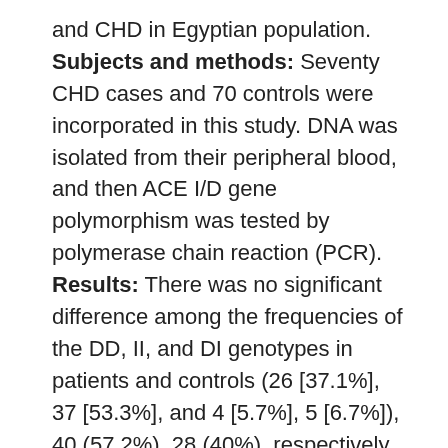and CHD in Egyptian population. Subjects and methods: Seventy CHD cases and 70 controls were incorporated in this study. DNA was isolated from their peripheral blood, and then ACE I/D gene polymorphism was tested by polymerase chain reaction (PCR). Results: There was no significant difference among the frequencies of the DD, II, and DI genotypes in patients and controls (26 [37.1%], 37 [53.3%], and 4 [5.7%], 5 [6.7%]), 40 (57.2%), 28 (40%), respectively (p value = 1 and OR [95% CI] = 1.1). There was no significant difference between D allele (DD + DI) and II genotype distribution among patients and controls (p value = 1 and OR [95% CI] = 1.2 [0.3-2.9]). Moreover, there was no difference